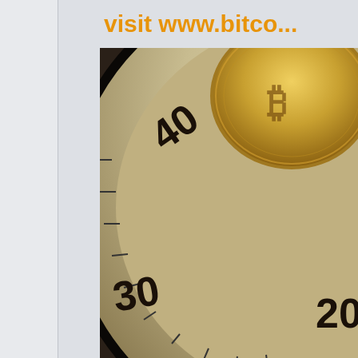visit www.bitco...
[Figure (photo): Close-up photo of a combination lock dial showing numbers 20, 30, 40, with a Bitcoin coin visible in the upper portion and a circuit board at the bottom.]
Cryptomiles1
Member
Activity: 476
Re: 10th anniversary art contest
October 25, 2019, 12:04:27 PM
Quote from: Bttzed03 on October 25, 2019, 11:56:33 AM
Quote from: jerrison on October 25, 2019, 11:44:49 AM